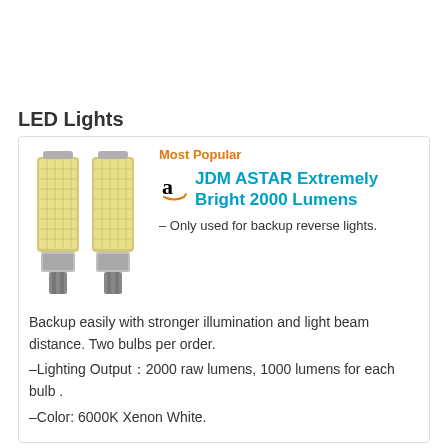LED Lights
[Figure (photo): Two LED bulbs (JDM ASTAR Extremely Bright 2000 Lumens) side by side, showing dense LED chip arrays on cylindrical bodies with silver bases]
Most Popular
JDM ASTAR Extremely Bright 2000 Lumens
– Only used for backup reverse lights. Backup easily with stronger illumination and light beam distance. Two bulbs per order.
–Lighting Output：2000 raw lumens, 1000 lumens for each bulb .
–Color: 6000K Xenon White.